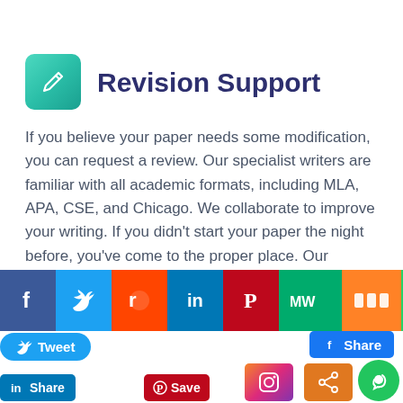Revision Support
If you believe your paper needs some modification, you can request a review. Our specialist writers are familiar with all academic formats, including MLA, APA, CSE, and Chicago. We collaborate to improve your writing. If you didn't start your paper the night before, you've come to the proper place. Our academic revision service is available 24/7. Simply place your order now.
[Figure (other): Social media share buttons row: Facebook (f), Twitter (bird), Reddit, LinkedIn, Pinterest, MeWe, Mix, WhatsApp icons followed by a green banner with text 'VICES', a Facebook Share button, a Tweet button, LinkedIn Share button, Pinterest Save button, Instagram button, and a generic share button. Also a green circular chat bubble icon in the bottom right.]